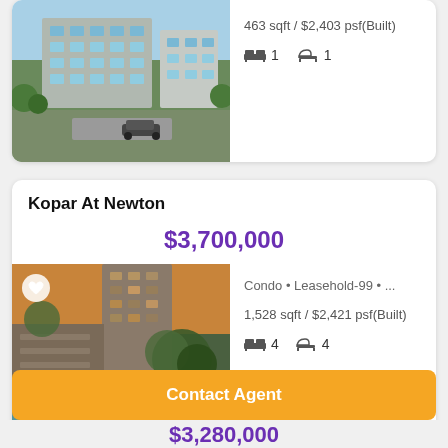[Figure (photo): Exterior photo of a modern condominium building with green landscaping]
463 sqft / $2,403 psf(Built)
1 bed  1 bath
Kopar At Newton
$3,700,000
[Figure (photo): Kopar At Newton - luxury condo pool area with lounge chairs at sunset]
Condo • Leasehold-99 • ...
1,528 sqft / $2,421 psf(Built)
4 bed  4 bath
Contact Agent
$3,280,000